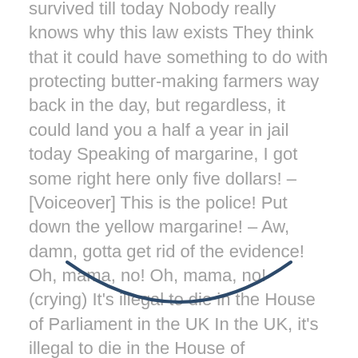survived till today Nobody really knows why this law exists They think that it could have something to do with protecting butter-making farmers way back in the day, but regardless, it could land you a half a year in jail today Speaking of margarine, I got some right here only five dollars! – [Voiceover] This is the police! Put down the yellow margarine! – Aw, damn, gotta get rid of the evidence! Oh, mama, no! Oh, mama, no! (crying) It's illegal to die in the House of Parliament in the UK In the UK, it's illegal to die in the House of Parliament because it's a royal palace, and anyone who dies within it is entitled to a state funeral
[Figure (other): A dark blue arc/smile shape decorative graphic element]
The law goes as far as to say that if you even look a little bit sickly, they will physically carry you out of the building Man, that seem pretty excessive Like, I get that the government doesn't want to shell out that much money for a state funeral for just anybody, but how often does someone just croak on the spot? God forbid you should cough Get the bastard! Singapore has a ban on publicly chewing gum It's only available in pharmacies and only for personal consumption at home, or for theraputic purposes, whatever that means